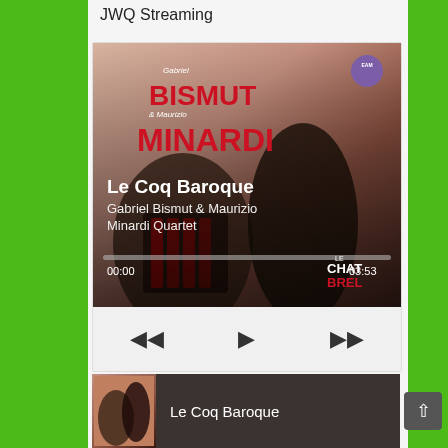JWQ Streaming
[Figure (screenshot): Music streaming player showing album art for 'Le Coq Baroque' by Gabriel Bismut & Maurizio Minardi Quartet. Shows progress bar at 00:00 / 03:53, playback controls (rewind, play, fast-forward), and a bottom track listing.]
Le Coq Baroque
Gabriel Bismut & Maurizio Minardi Quartet
00:00
03:53
Le Coq Baroque